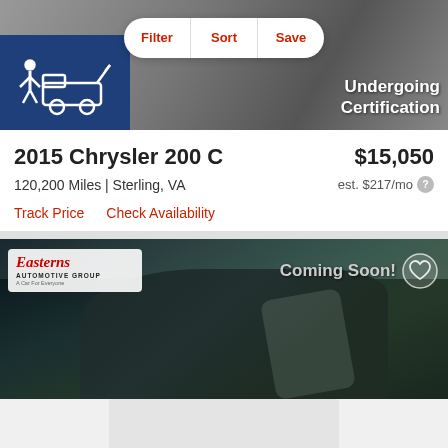[Figure (screenshot): Top area showing a car/tow truck certification image with Filter, Sort, Save buttons overlaid, and 'Undergoing Certification' text]
2015 Chrysler 200 C
$15,050
120,200 Miles | Sterling, VA
est. $217/mo
Track Price
Check Availability
[Figure (photo): Easterns Automotive Group car listing image with 'Coming Soon!' overlay and heart icon, showing a dark blue/green vehicle hood]
[Figure (photo): Partial bottom card/listing area shown at bottom edge]